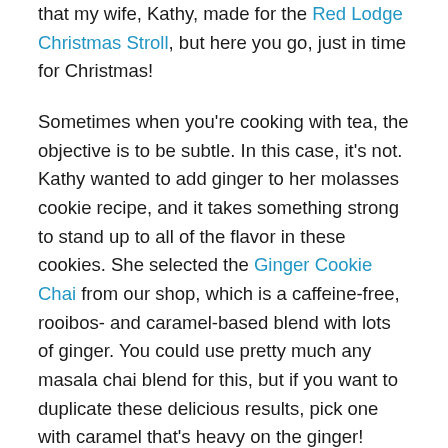that my wife, Kathy, made for the Red Lodge Christmas Stroll, but here you go, just in time for Christmas!
Sometimes when you're cooking with tea, the objective is to be subtle. In this case, it's not. Kathy wanted to add ginger to her molasses cookie recipe, and it takes something strong to stand up to all of the flavor in these cookies. She selected the Ginger Cookie Chai from our shop, which is a caffeine-free, rooibos- and caramel-based blend with lots of ginger. You could use pretty much any masala chai blend for this, but if you want to duplicate these delicious results, pick one with caramel that's heavy on the ginger!
Ingredients